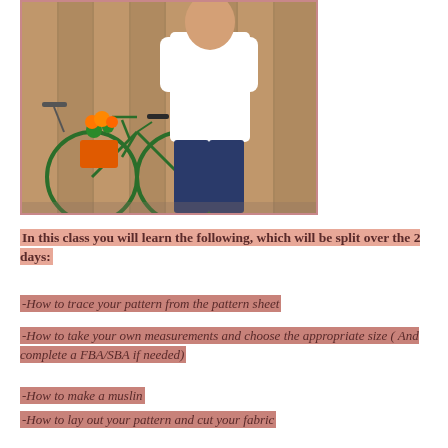[Figure (photo): Woman in white t-shirt and jeans standing next to a green bicycle with orange flowers, in front of a wooden fence background]
In this class you will learn the following, which will be split over the 2 days:
-How to trace your pattern from the pattern sheet
-How to take your own measurements and choose the appropriate size ( And complete a FBA/SBA if needed)
-How to make a muslin
-How to lay out your pattern and cut your fabric